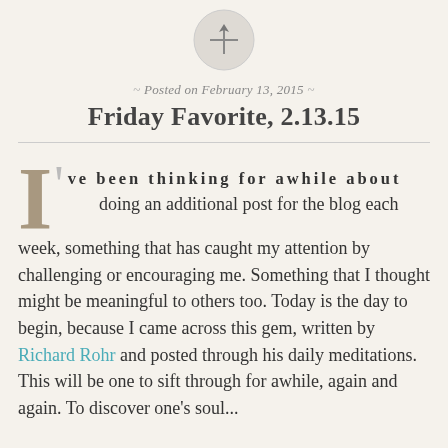[Figure (logo): Compass or pin icon logo in a circular grey background at the top center of the page]
Posted on February 13, 2015
Friday Favorite, 2.13.15
I've been thinking for awhile about doing an additional post for the blog each week, something that has caught my attention by challenging or encouraging me. Something that I thought might be meaningful to others too. Today is the day to begin, because I came across this gem, written by Richard Rohr and posted through his daily meditations. This will be one to sift through for awhile, again and again. To discover one's soul...